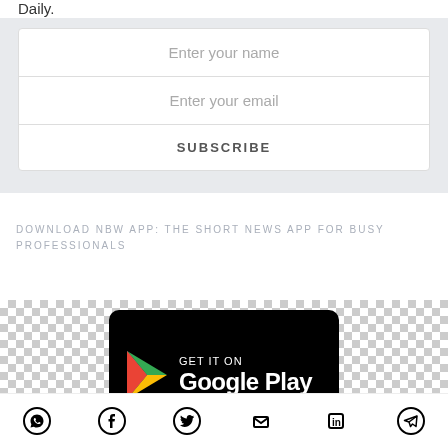Daily.
[Figure (screenshot): Email subscription form with 'Enter your name', 'Enter your email' fields and a SUBSCRIBE button on a light grey background]
DOWNLOAD NBW APP: THE SHORT NEWS APP FOR BUSY PROFESSIONALS
[Figure (screenshot): Google Play Store badge button on checkerboard background]
[Figure (infographic): Social sharing icon bar with WhatsApp, Facebook, Twitter, Email, LinkedIn, and Telegram icons]